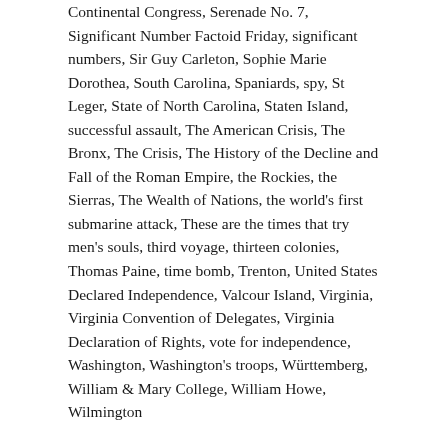Continental Congress, Serenade No. 7, Significant Number Factoid Friday, significant numbers, Sir Guy Carleton, Sophie Marie Dorothea, South Carolina, Spaniards, spy, St Leger, State of North Carolina, Staten Island, successful assault, The American Crisis, The Bronx, The Crisis, The History of the Decline and Fall of the Roman Empire, the Rockies, the Sierras, The Wealth of Nations, the world's first submarine attack, These are the times that try men's souls, third voyage, thirteen colonies, Thomas Paine, time bomb, Trenton, United States Declared Independence, Valcour Island, Virginia, Virginia Convention of Delegates, Virginia Declaration of Rights, vote for independence, Washington, Washington's troops, Württemberg, William & Mary College, William Howe, Wilmington
“Fight Against Stupidity And Bureaucracy”
Hello everyone.
And as we know, Fourth of July...